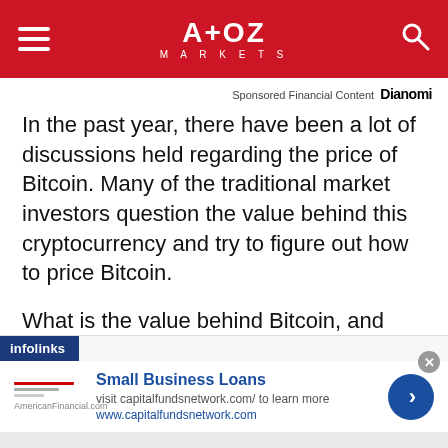A+OZ MARKETS
Sponsored Financial Content  Dianomi
In the past year, there have been a lot of discussions held regarding the price of Bitcoin. Many of the traditional market investors question the value behind this cryptocurrency and try to figure out how to price Bitcoin.
What is the value behind Bitcoin, and why is Bitcoin worth money? How do you determine a Bitcoin’s price?
[Figure (screenshot): Infolinks advertisement banner for Small Business Loans from capitalfundsnetwork.com with a blue arrow button and a close button]